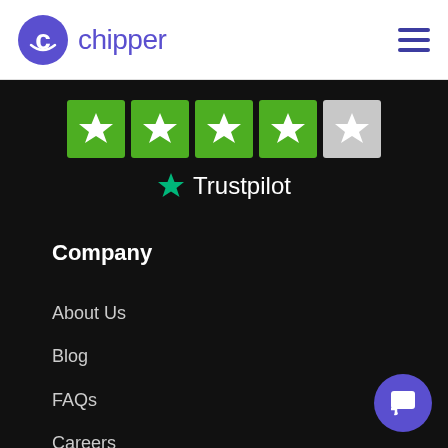[Figure (logo): Chipper logo: blue circle with white 'c' smiley icon and 'chipper' text in purple]
[Figure (infographic): Trustpilot rating: 4 green star boxes and 1 gray star box, with green Trustpilot star icon and 'Trustpilot' text]
Company
About Us
Blog
FAQs
Careers
Write For Us
Partners